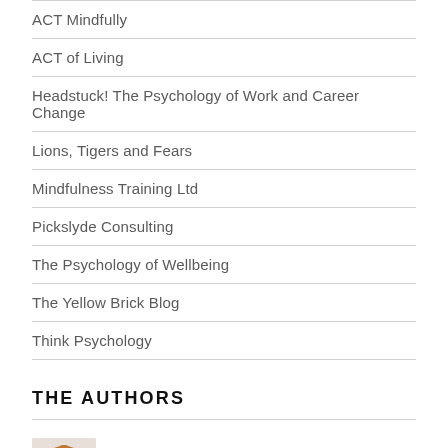ACT Mindfully
ACT of Living
Headstuck! The Psychology of Work and Career Change
Lions, Tigers and Fears
Mindfulness Training Ltd
Pickslyde Consulting
The Psychology of Wellbeing
The Yellow Brick Blog
Think Psychology
THE AUTHORS
[Figure (photo): Author headshot photo, woman with curly reddish-brown hair, partially cropped at bottom of page]